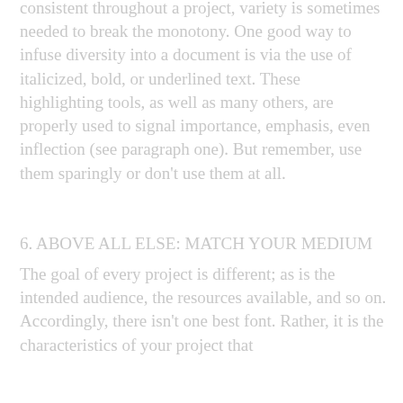consistent throughout a project, variety is sometimes needed to break the monotony. One good way to infuse diversity into a document is via the use of italicized, bold, or underlined text. These highlighting tools, as well as many others, are properly used to signal importance, emphasis, even inflection (see paragraph one). But remember, use them sparingly or don't use them at all.
6. ABOVE ALL ELSE: MATCH YOUR MEDIUM
The goal of every project is different; as is the intended audience, the resources available, and so on. Accordingly, there isn't one best font. Rather, it is the characteristics of your project that